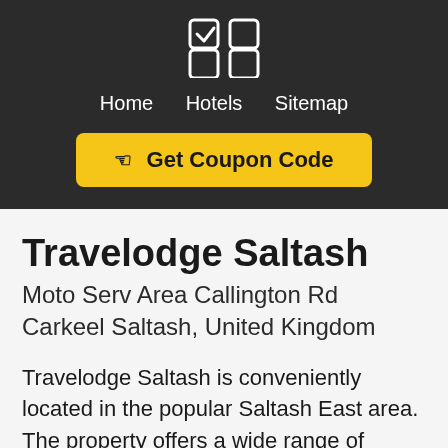Home  Hotels  Sitemap
Get Coupon Code
Travelodge Saltash
Moto Serv Area Callington Rd Carkeel Saltash, United Kingdom
Travelodge Saltash is conveniently located in the popular Saltash East area. The property offers a wide range of amenities and perks to ensure you have a